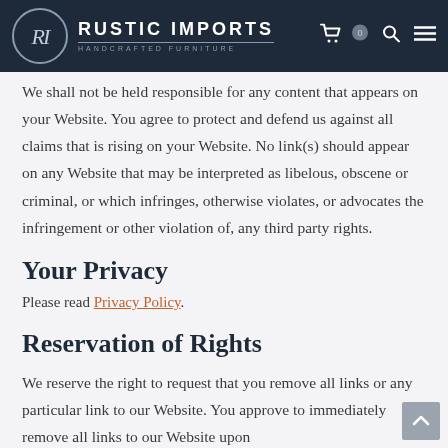RUSTIC IMPORTS HANDCRAFTED FURNITURE
We shall not be held responsible for any content that appears on your Website. You agree to protect and defend us against all claims that is rising on your Website. No link(s) should appear on any Website that may be interpreted as libelous, obscene or criminal, or which infringes, otherwise violates, or advocates the infringement or other violation of, any third party rights.
Your Privacy
Please read Privacy Policy.
Reservation of Rights
We reserve the right to request that you remove all links or any particular link to our Website. You approve to immediately remove all links to our Website upon